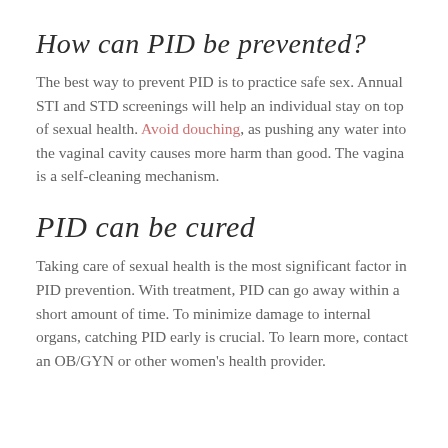How can PID be prevented?
The best way to prevent PID is to practice safe sex. Annual STI and STD screenings will help an individual stay on top of sexual health. Avoid douching, as pushing any water into the vaginal cavity causes more harm than good. The vagina is a self-cleaning mechanism.
PID can be cured
Taking care of sexual health is the most significant factor in PID prevention. With treatment, PID can go away within a short amount of time. To minimize damage to internal organs, catching PID early is crucial. To learn more, contact an OB/GYN or other women's health provider.